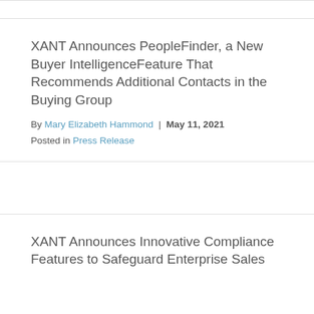XANT Announces PeopleFinder, a New Buyer IntelligenceFeature That Recommends Additional Contacts in the Buying Group
By Mary Elizabeth Hammond | May 11, 2021
Posted in Press Release
XANT Announces Innovative Compliance Features to Safeguard Enterprise Sales